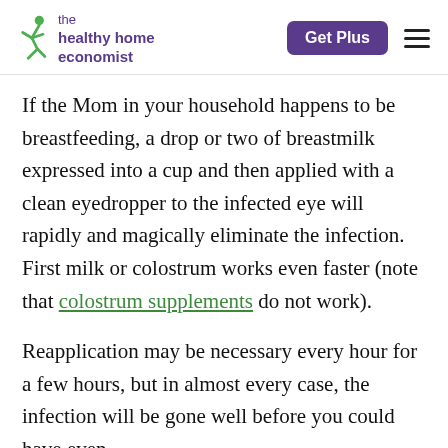the healthy home economist | Get Plus
If the Mom in your household happens to be breastfeeding, a drop or two of breastmilk expressed into a cup and then applied with a clean eyedropper to the infected eye will rapidly and magically eliminate the infection. First milk or colostrum works even faster (note that colostrum supplements do not work).
Reapplication may be necessary every hour for a few hours, but in almost every case, the infection will be gone well before you could have even gotten an appointment to see the doctor. This remedy works well for newborn babies also, so no